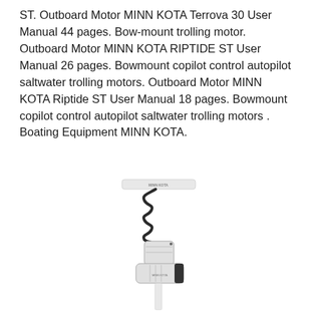ST. Outboard Motor MINN KOTA Terrova 30 User Manual 44 pages. Bow-mount trolling motor. Outboard Motor MINN KOTA RIPTIDE ST User Manual 26 pages. Bowmount copilot control autopilot saltwater trolling motors. Outboard Motor MINN KOTA Riptide ST User Manual 18 pages. Bowmount copilot control autopilot saltwater trolling motors . Boating Equipment MINN KOTA.
[Figure (photo): A MINN KOTA electric trolling motor (bow-mount style) shown in white, with a coiled cable, motor head, and white shaft extending downward. The MINN KOTA logo is visible on the motor unit.]